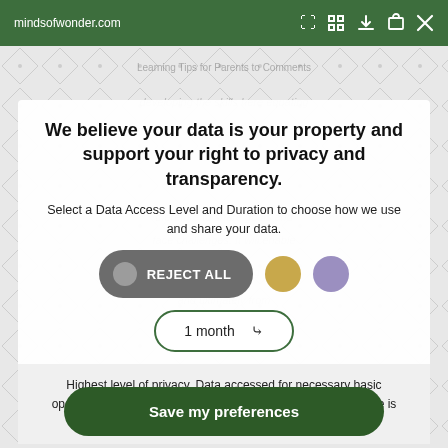mindsofwonder.com
We believe your data is your property and support your right to privacy and transparency.
Select a Data Access Level and Duration to choose how we use and share your data.
[Figure (infographic): Reject All button (dark grey pill with grey circle icon), gold circle button, purple circle button]
[Figure (infographic): Dropdown selector showing '1 month' with down chevron, outlined in dark green]
Highest level of privacy. Data accessed for necessary basic operations only. Data shared with 3rd parties to ensure the site is secure and works on your device
Save my preferences